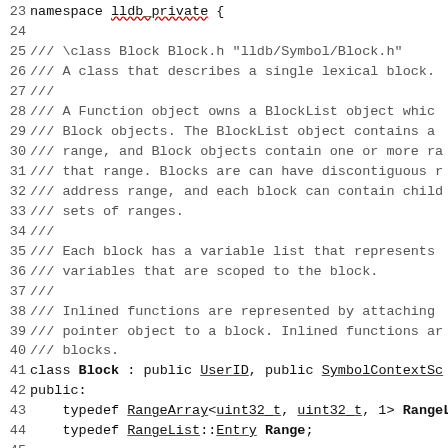Source code listing, lines 23-52, C++ header file with class Block documentation and definition in lldb_private namespace